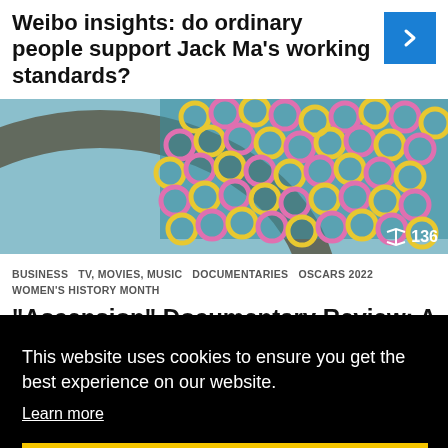Weibo insights: do ordinary people support Jack Ma’s working standards?
[Figure (photo): Colorful inflatable rings or floats arranged in an arc pattern, aerial/overhead view with teal background]
BUSINESS  TV, MOVIES, MUSIC  DOCUMENTARIES  OSCARS 2022  WOMEN’S HISTORY MONTH
“Ascension” Documentary Review: A Must-Watch Film on China’s
This website uses cookies to ensure you get the best experience on our website.
Learn more
Got it!
[Figure (photo): Partial view of red and blue image at bottom right, appears to show flags or colored shapes]